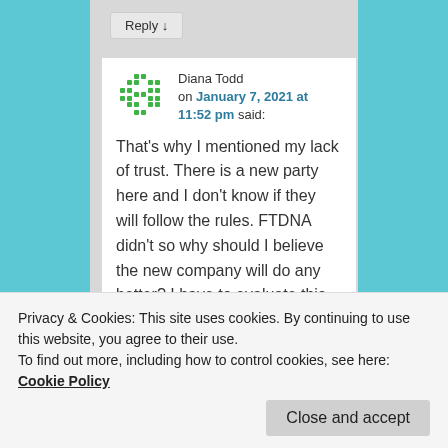Reply ↓
Diana Todd on January 7, 2021 at 11:52 pm said:
That's why I mentioned my lack of trust. There is a new party here and I don't know if they will follow the rules. FTDNA didn't so why should I believe the new company will do any better? I have to evaluate this new mix. I don't know if their word
Privacy & Cookies: This site uses cookies. By continuing to use this website, you agree to their use.
To find out more, including how to control cookies, see here: Cookie Policy
Close and accept